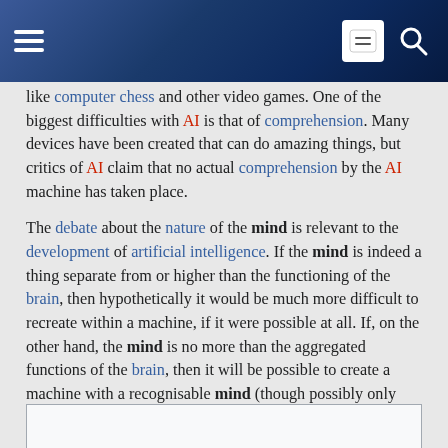Wikipedia mobile header with menu, face icon, and search icon
like computer chess and other video games. One of the biggest difficulties with AI is that of comprehension. Many devices have been created that can do amazing things, but critics of AI claim that no actual comprehension by the AI machine has taken place.
The debate about the nature of the mind is relevant to the development of artificial intelligence. If the mind is indeed a thing separate from or higher than the functioning of the brain, then hypothetically it would be much more difficult to recreate within a machine, if it were possible at all. If, on the other hand, the mind is no more than the aggregated functions of the brain, then it will be possible to create a machine with a recognisable mind (though possibly only with computers much different from today's), by simple virtue of the fact that such a machine already exists in the form of the human brain.
Religious perspectives